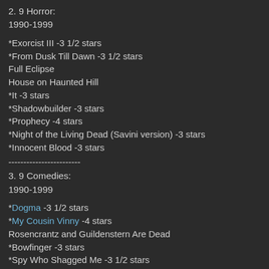2. 9 Horror:
1990-1999
*Exorcist III -3 1/2 stars
*From Dusk Till Dawn -3 1/2 stars
Full Eclipse
House on Haunted Hill
*It -3 stars
*Shadowbuilder -3 stars
*Prophecy -4 stars
*Night of the Living Dead (Savini version) -3 stars
*Innocent Blood -3 stars
------------------------
3. 9 Comedies:
1990-1999
*Dogma -3 1/2 stars
*My Cousin Vinny -4 stars
Rosencrantz and Guildenstern Are Dead
*Bowfinger -3 stars
*Spy Who Shagged Me -3 1/2 stars
Addams Family